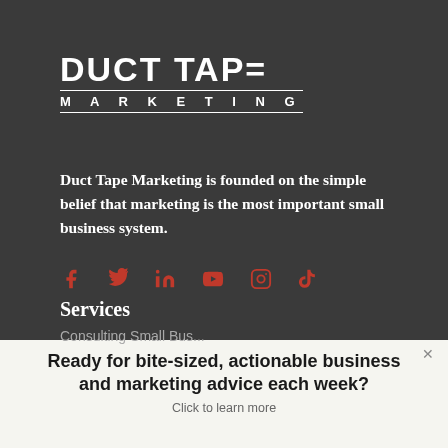[Figure (logo): Duct Tape Marketing logo — bold white sans-serif wordmark with horizontal rules and 'MARKETING' in spaced caps]
Duct Tape Marketing is founded on the simple belief that marketing is the most important small business system.
[Figure (infographic): Row of six orange social media icons: Facebook, Twitter, LinkedIn, YouTube, Instagram, TikTok]
Services
Ready for bite-sized, actionable business and marketing advice each week?
Click to learn more